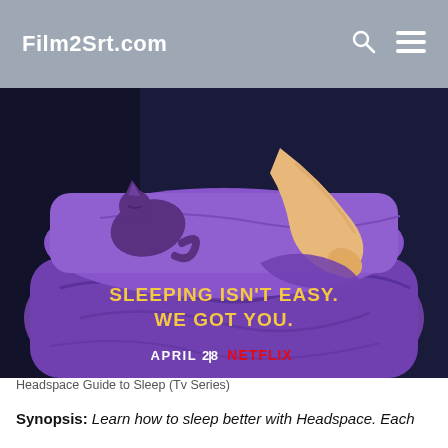Film2Srt.com
[Figure (illustration): Promotional image for Headspace Guide to Sleep (TV Series) on Netflix. Shows an aerial view illustration of a person sleeping under a purple blanket with a cat. Text reads 'SLEEPING ISN'T EASY. WE GOT YOU.' and 'APRIL 28 | NETFLIX']
Headspace Guide to Sleep (Tv Series)
Synopsis: Learn how to sleep better with Headspace. Each